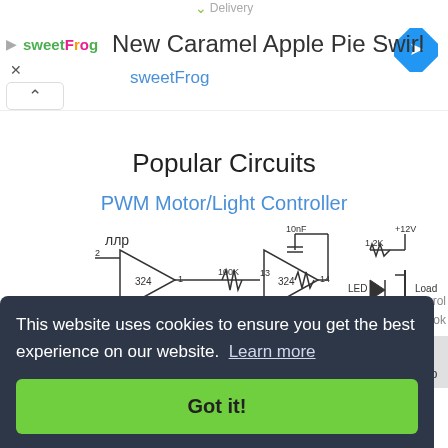[Figure (screenshot): Top navigation bar with delivery label, sweetFrog advertisement showing 'New Caramel Apple Pie Swirl', navigation diamond icon, and collapse button]
Popular Circuits
PWM Motor/Light Controller
[Figure (circuit-diagram): PWM Motor/Light Controller circuit diagram showing op-amps (324), resistors (100K, 1.2K), capacitor (10nF), LED, and load with +12V supply]
This website uses cookies to ensure you get the best experience on our website.  Learn more
Got it!